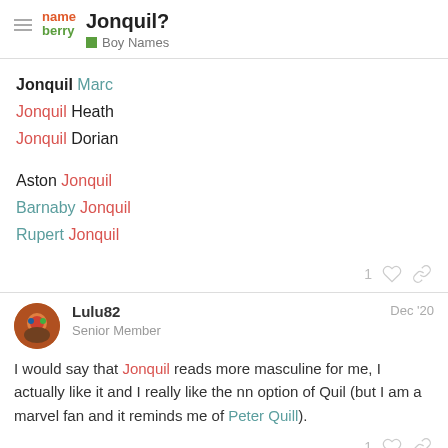Jonquil? — Boy Names
Jonquil Marc
Jonquil Heath
Jonquil Dorian
Aston Jonquil
Barnaby Jonquil
Rupert Jonquil
Lulu82 — Senior Member — Dec '20
I would say that Jonquil reads more masculine for me, I actually like it and I really like the nn option of Quil (but I am a marvel fan and it reminds me of Peter Quill).